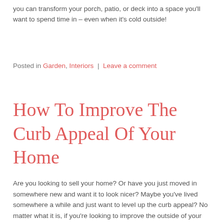you can transform your porch, patio, or deck into a space you'll want to spend time in – even when it's cold outside!
Posted in Garden, Interiors | Leave a comment
How To Improve The Curb Appeal Of Your Home
Are you looking to sell your home? Or have you just moved in somewhere new and want it to look nicer? Maybe you've lived somewhere a while and just want to level up the curb appeal? No matter what it is, if you're looking to improve the outside of your home,